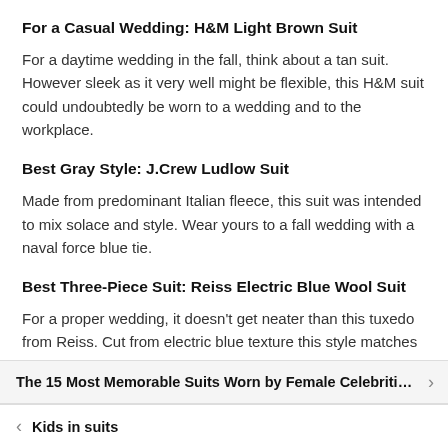For a Casual Wedding: H&M Light Brown Suit
For a daytime wedding in the fall, think about a tan suit. However sleek as it very well might be flexible, this H&M suit could undoubtedly be worn to a wedding and to the workplace.
Best Gray Style: J.Crew Ludlow Suit
Made from predominant Italian fleece, this suit was intended to mix solace and style. Wear yours to a fall wedding with a naval force blue tie.
Best Three-Piece Suit: Reiss Electric Blue Wool Suit
For a proper wedding, it doesn’t get neater than this tuxedo from Reiss. Cut from electric blue texture this style matches wonderfully with a fresh white dress shirt and dim earthy
The 15 Most Memorable Suits Worn by Female Celebriti…
Kids in suits